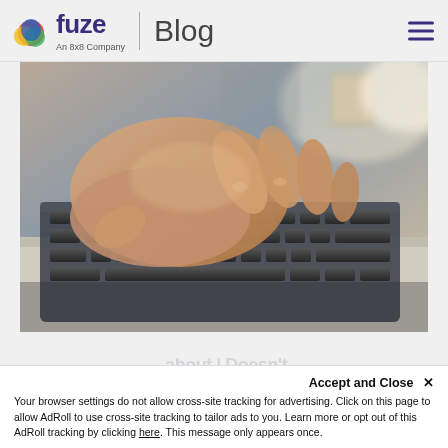fuze | Blog  An 8x8 Company
[Figure (photo): Close-up photo of a human hand typing on a laptop keyboard, with a blurred background showing a mug and soft light.]
Accept and Close ×
Your browser settings do not allow cross-site tracking for advertising. Click on this page to allow AdRoll to use cross-site tracking to tailor ads to you. Learn more or opt out of this AdRoll tracking by clicking here. This message only appears once.